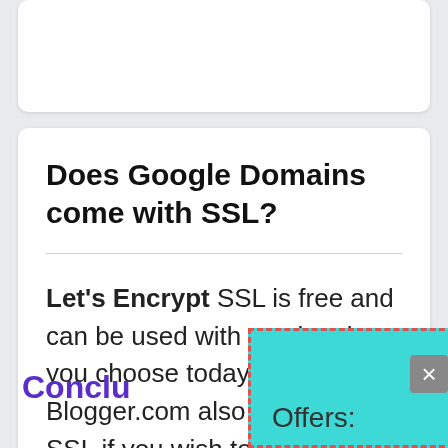Does Google Domains come with SSL?
Let's Encrypt SSL is free and can be used with any hosting you choose today. Google's Blogger.com also provides SSL if you wish to choose this platform.
Conclu
Offers: